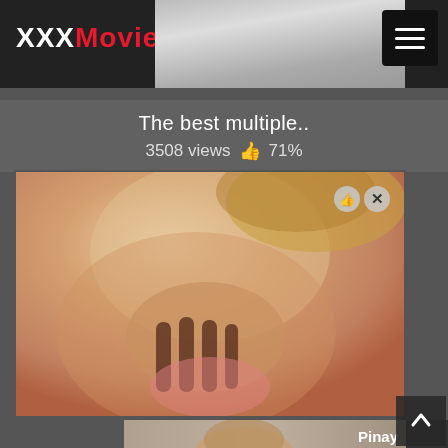XXXMoviesPorn
The best multiple..
3508 views 👍 71%
[Figure (photo): Video player showing adult content - close up image]
[Figure (photo): Second video thumbnail labeled Pinay]